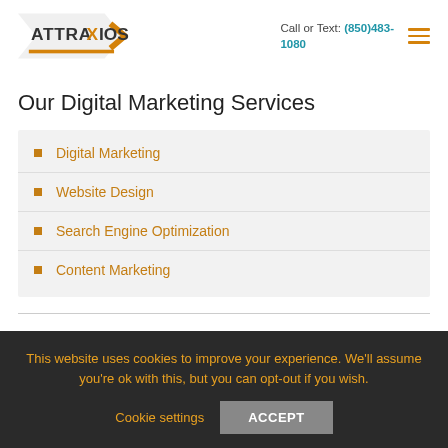Attraxios — Call or Text: (850)483-1080
Our Digital Marketing Services
Digital Marketing
Website Design
Search Engine Optimization
Content Marketing
This website uses cookies to improve your experience. We'll assume you're ok with this, but you can opt-out if you wish. Cookie settings  ACCEPT